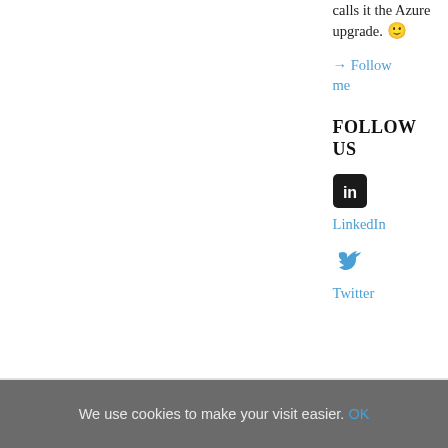the inventor calls it the Azure upgrade. 🙂
→ Follow me
FOLLOW US
[Figure (logo): LinkedIn icon - black rounded square with white 'in' text]
LinkedIn
[Figure (logo): Twitter bird icon in blue]
Twitter
We use cookies to make your visit easier. OK